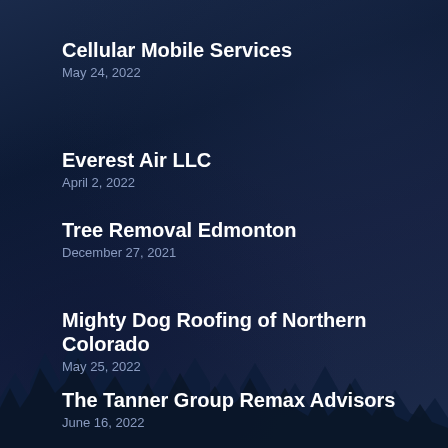Cellular Mobile Services
May 24, 2022
Everest Air LLC
April 2, 2022
Tree Removal Edmonton
December 27, 2021
Mighty Dog Roofing of Northern Colorado
May 25, 2022
The Tanner Group Remax Advisors
June 16, 2022